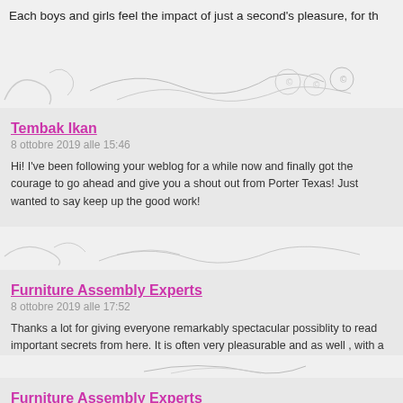Each boys and girls feel the impact of just a second's pleasure, for th…
Tembak Ikan
8 ottobre 2019 alle 15:46
Hi! I've been following your weblog for a while now and finally got the courage to go ahead and give you a shout out from Porter Texas! Just wanted to say keep up the good work!
Furniture Assembly Experts
8 ottobre 2019 alle 17:52
Thanks a lot for giving everyone remarkably spectacular possiblity to read important secrets from here. It is often very pleasurable and as well , with a lot of fun for me personally and my office peers to search your weekly to study the latest guidance you will have. And indeed, I'm at a breathtaking tips you serve. Certain 2 facts on this page are honestly the best I had.
Furniture Assembly Experts